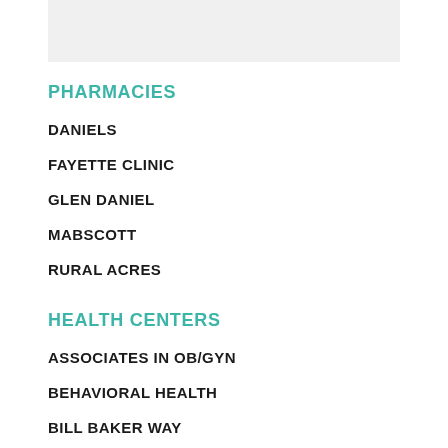[Figure (other): Gray background box at top of page]
PHARMACIES
DANIELS
FAYETTE CLINIC
GLEN DANIEL
MABSCOTT
RURAL ACRES
HEALTH CENTERS
ASSOCIATES IN OB/GYN
BEHAVIORAL HEALTH
BILL BAKER WAY
DANIELS